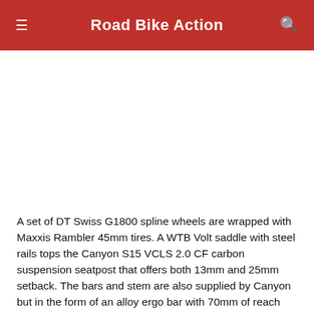Road Bike Action
[Figure (photo): White/blank image area below the header — no visible photo content]
A set of DT Swiss G1800 spline wheels are wrapped with Maxxis Rambler 45mm tires. A WTB Volt saddle with steel rails tops the Canyon S15 VCLS 2.0 CF carbon suspension seatpost that offers both 13mm and 25mm setback. The bars and stem are also supplied by Canyon but in the form of an alloy ergo bar with 70mm of reach and alloy 70mm stem. Both are of a